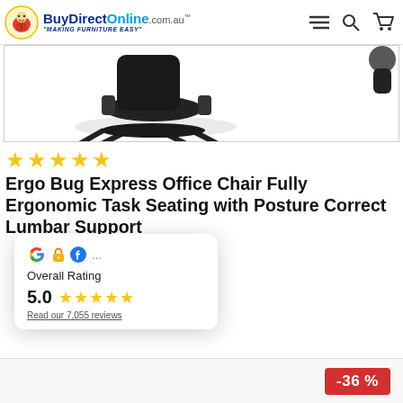BuyDirectOnline.com.au - MAKING FURNITURE EASY
[Figure (photo): Partial view of a black ergonomic office chair product image on white background]
★★★★★
Ergo Bug Express Office Chair Fully Ergonomic Task Seating with Posture Correct Lumbar Support
Overall Rating 5.0 ★★★★★ Read our 7,055 reviews